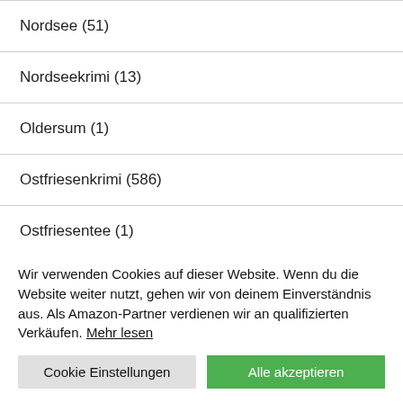Nordsee (51)
Nordseekrimi (13)
Oldersum (1)
Ostfriesenkrimi (586)
Ostfriesentee (1)
Ostfriesische Inseln (180)
Wir verwenden Cookies auf dieser Website. Wenn du die Website weiter nutzt, gehen wir von deinem Einverständnis aus. Als Amazon-Partner verdienen wir an qualifizierten Verkäufen. Mehr lesen
Cookie Einstellungen | Alle akzeptieren